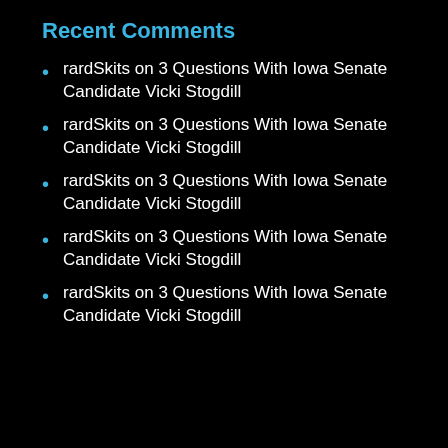Recent Comments
rardSkits on 3 Questions With Iowa Senate Candidate Vicki Stogdill
rardSkits on 3 Questions With Iowa Senate Candidate Vicki Stogdill
rardSkits on 3 Questions With Iowa Senate Candidate Vicki Stogdill
rardSkits on 3 Questions With Iowa Senate Candidate Vicki Stogdill
rardSkits on 3 Questions With Iowa Senate Candidate Vicki Stogdill